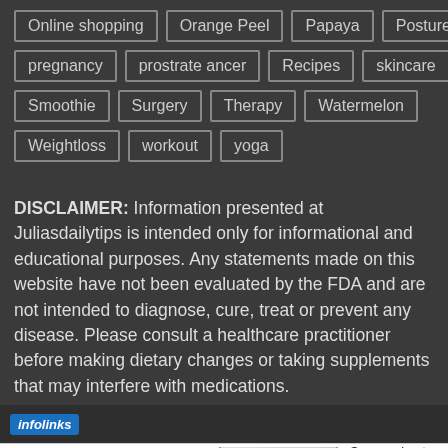Online shopping
Orange Peel
Papaya
Posture
pregnancy
prostrate ancer
Recipes
skincare
Smoothie
Surgery
Therapy
Watermelon
Weightloss
workout
yoga
DISCLAIMER: Information presented at Juliasdailytips is intended only for informational and educational purposes. Any statements made on this website have not been evaluated by the FDA and are not intended to diagnose, cure, treat or prevent any disease. Please consult a healthcare practitioner before making dietary changes or taking supplements that may interfere with medications.
[Figure (screenshot): Infolinks bar with logo and Wayfair advertisement banner showing 'Top Appliances Low Prices', an image of a stove/range appliance, and 'Save on best selling brands that live up to the hype' with 'Shop now' button in purple, and a close button.]